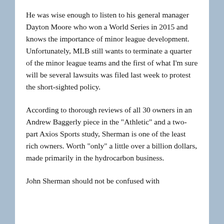He was wise enough to listen to his general manager Dayton Moore who won a World Series in 2015 and knows the importance of minor league development. Unfortunately, MLB still wants to terminate a quarter of the minor league teams and the first of what I'm sure will be several lawsuits was filed last week to protest the short-sighted policy.
According to thorough reviews of all 30 owners in an Andrew Baggerly piece in the "Athletic" and a two-part Axios Sports study, Sherman is one of the least rich owners. Worth "only" a little over a billion dollars, made primarily in the hydrocarbon business.
John Sherman should not be confused with